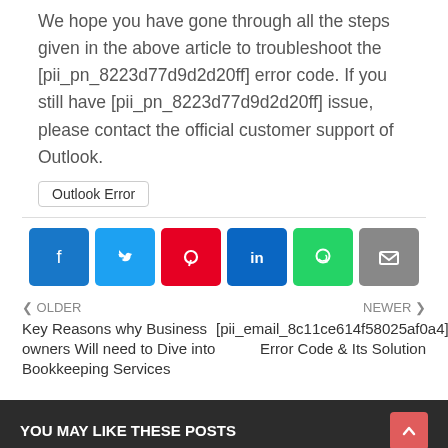We hope you have gone through all the steps given in the above article to troubleshoot the [pii_pn_8223d77d9d2d20ff] error code. If you still have [pii_pn_8223d77d9d2d20ff] issue, please contact the official customer support of Outlook.
Outlook Error
[Figure (infographic): Row of social sharing buttons: Facebook (dark blue), Twitter (light blue), Pinterest (red), LinkedIn (dark blue), WhatsApp (green), Email (gray)]
< OLDER
Key Reasons why Business owners Will need to Dive into Bookkeeping Services
NEWER >
[pii_email_8c11ce614f58025af0a4] Error Code & Its Solution
YOU MAY LIKE THESE POSTS
[pii_email_e7ab94773079efbbcb25] Error...